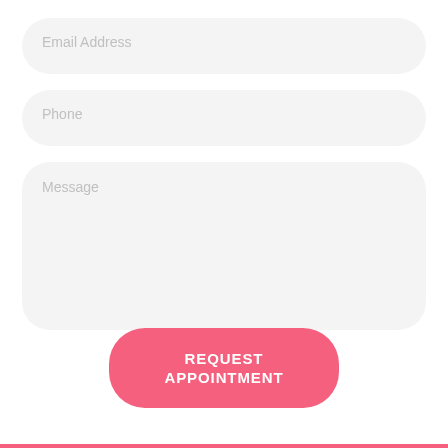Email Address
Phone
Message
REQUEST APPOINTMENT